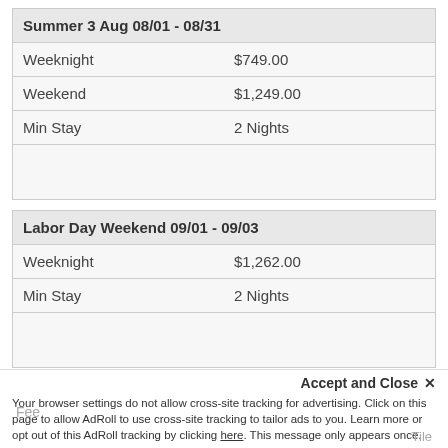| Summer 3 Aug 08/01 - 08/31 |  |
| --- | --- |
| Weeknight | $749.00 |
| Weekend | $1,249.00 |
| Min Stay | 2 Nights |
|  |  |
| Labor Day Weekend 09/01 - 09/03 |  |
| --- | --- |
| Weeknight | $1,262.00 |
| Min Stay | 2 Nights |
|  |  |
Prices are displaced in USD. We negotiate special rates on a regular basis dependant upon circumstances. If you have specific requirements related to a stay, please feel free to inquire.
Fee | Accept and Close × | Your browser settings do not allow cross-site tracking for advertising. Click on this page to allow AdRoll to use cross-site tracking to tailor ads to you. Learn more or opt out of this AdRoll tracking by clicking here. This message only appears once.